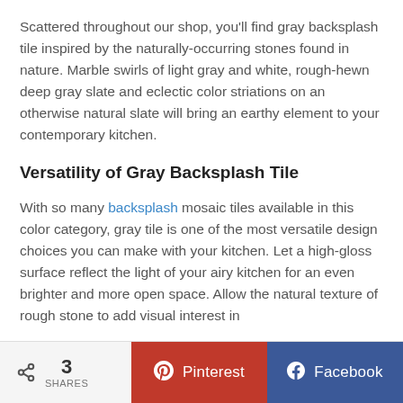Scattered throughout our shop, you'll find gray backsplash tile inspired by the naturally-occurring stones found in nature. Marble swirls of light gray and white, rough-hewn deep gray slate and eclectic color striations on an otherwise natural slate will bring an earthy element to your contemporary kitchen.
Versatility of Gray Backsplash Tile
With so many backsplash mosaic tiles available in this color category, gray tile is one of the most versatile design choices you can make with your kitchen. Let a high-gloss surface reflect the light of your airy kitchen for an even brighter and more open space. Allow the natural texture of rough stone to add visual interest in
3 SHARES  Pinterest  Facebook